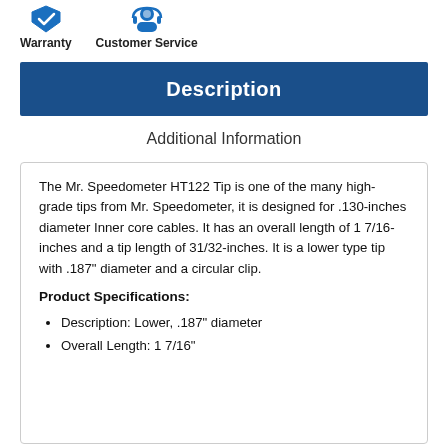[Figure (illustration): Warranty icon — blue shield with checkmark]
[Figure (illustration): Customer Service icon — blue figure with headset]
Description
Additional Information
The Mr. Speedometer HT122 Tip is one of the many high-grade tips from Mr. Speedometer, it is designed for .130-inches diameter Inner core cables. It has an overall length of 1 7/16-inches and a tip length of 31/32-inches. It is a lower type tip with .187" diameter and a circular clip.
Product Specifications:
Description: Lower, .187" diameter
Overall Length: 1 7/16"